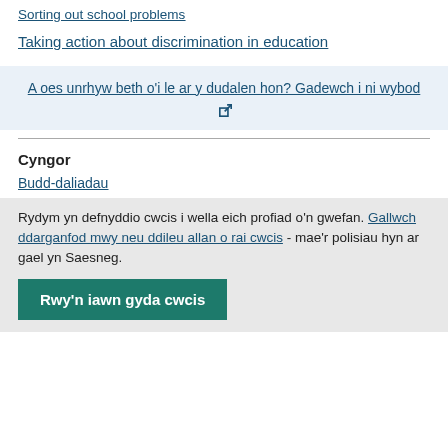Sorting out school problems
Taking action about discrimination in education
A oes unrhyw beth o'i le ar y dudalen hon? Gadewch i ni wybod
Cyngor
Budd-daliadau
Rydym yn defnyddio cwcis i wella eich profiad o'n gwefan. Gallwch ddarganfod mwy neu ddileu allan o rai cwcis - mae'r polisiau hyn ar gael yn Saesneg.
Rwy'n iawn gyda cwcis